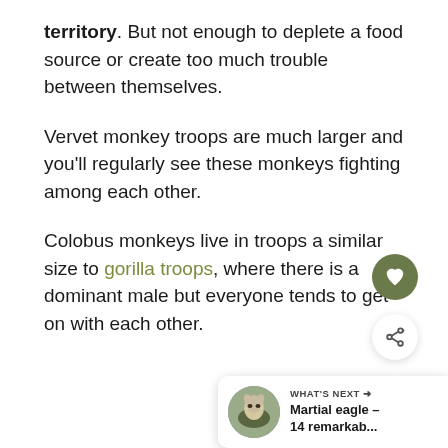territory. But not enough to deplete a food source or create too much trouble between themselves.
Vervet monkey troops are much larger and you'll regularly see these monkeys fighting among each other.
Colobus monkeys live in troops a similar size to gorilla troops, where there is a dominant male but everyone tends to get on with each other.